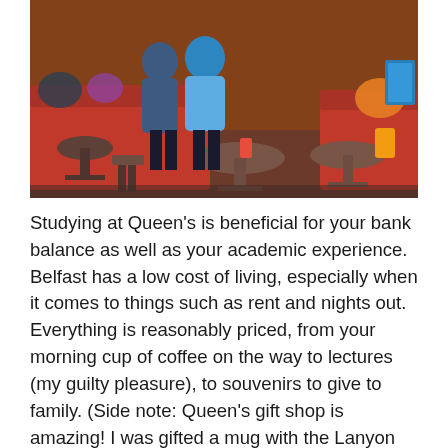[Figure (photo): Interior of a cafe/bar with red sofas, wooden chairs and tables, people sitting in the background. Warm, colourful decor with cushions and plants.]
Studying at Queen's is beneficial for your bank balance as well as your academic experience. Belfast has a low cost of living, especially when it comes to things such as rent and nights out. Everything is reasonably priced, from your morning cup of coffee on the way to lectures (my guilty pleasure), to souvenirs to give to family. (Side note: Queen's gift shop is amazing! I was gifted a mug with the Lanyon building whenever I was accepted into Queen's, and it's my favourite mug for a morning 'cuppa; perfect motivation for getting ready to go to lectures!). As well as being affordable, nights out are great craic! Belfast